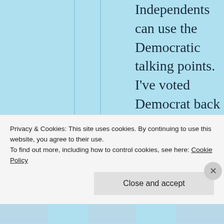Independents can use the Democratic talking points. I've voted Democrat back when they were more sensible but not for Bill Clinton. Your factual discussion is just not facts. You said you pity me. That's insulting.
Privacy & Cookies: This site uses cookies. By continuing to use this website, you agree to their use.
To find out more, including how to control cookies, see here: Cookie Policy
Close and accept